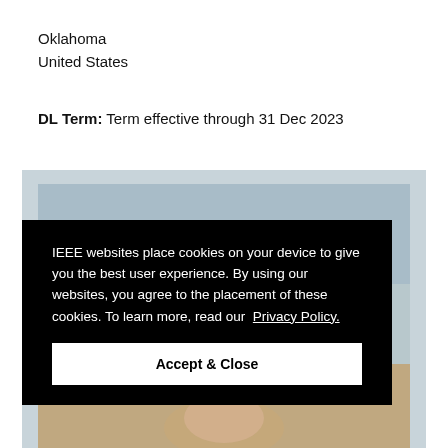Oklahoma
United States
DL Term: Term effective through 31 Dec 2023
[Figure (photo): Background photo area with a cookie consent overlay on an IEEE website showing a person's face partially visible]
IEEE websites place cookies on your device to give you the best user experience. By using our websites, you agree to the placement of these cookies. To learn more, read our Privacy Policy.
Accept & Close